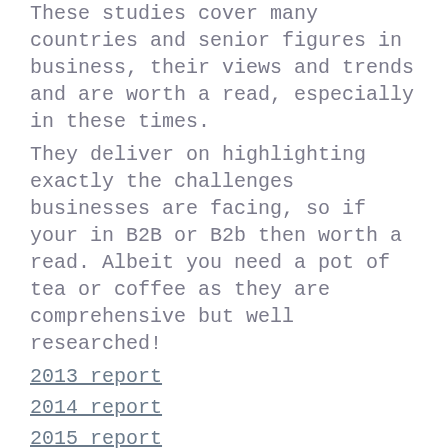These studies cover many countries and senior figures in business, their views and trends and are worth a read, especially in these times.
They deliver on highlighting exactly the challenges businesses are facing, so if your in B2B or B2b then worth a read. Albeit you need a pot of tea or coffee as they are comprehensive but well researched!
2013 report
2014 report
2015 report
2016 report
2017 report
2018 report
2019 report
So why the issue?